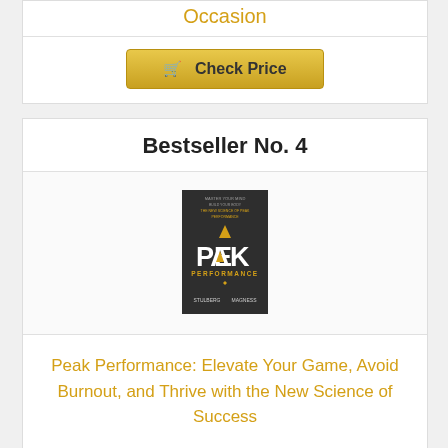Occasion
[Figure (other): Check Price button with shopping cart icon]
Bestseller No. 4
[Figure (photo): Book cover of Peak Performance: Elevate Your Game, Avoid Burnout, and Thrive with the New Science of Success - dark gray cover with gold triangle logo]
Peak Performance: Elevate Your Game, Avoid Burnout, and Thrive with the New Science of Success
[Figure (other): Check Price button with shopping cart icon]